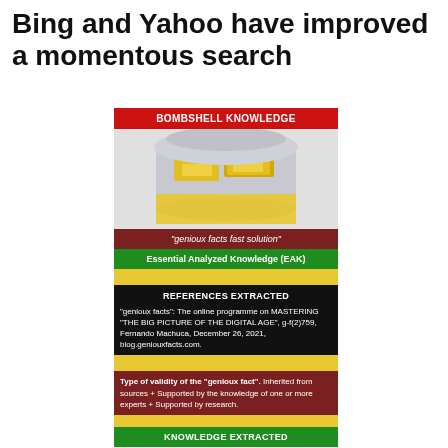Bing and Yahoo have improved a momentous search
[Figure (infographic): Infographic showing a glass jar/bottle with gold bars inside, overlaid with colored banner labels: BOMBSHELL KNOWLEDGE (red), genioux facts fast solution (dark red italic), Essential Analyzed Knowledge (EAK) (green), REFERENCES EXTRACTED (black) with reference text, Type of validity of the genioux fact (dark red) with validity text, and KNOWLEDGE EXTRACTED (green) at bottom.]